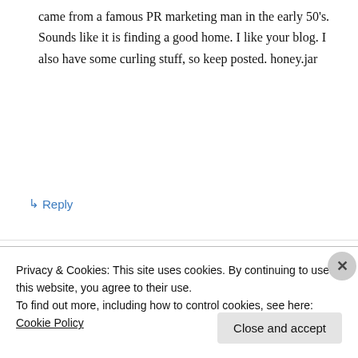came from a famous PR marketing man in the early 50's. Sounds like it is finding a good home. I like your blog. I also have some curling stuff, so keep posted. honey.jar
↳ Reply
Advertisements
[Figure (other): WordPress advertisement banner: 'Professionally designed sites in less than a week' with WordPress logo]
Kent on July 26, 2010 at 4:01 pm
Privacy & Cookies: This site uses cookies. By continuing to use this website, you agree to their use.
To find out more, including how to control cookies, see here: Cookie Policy
Close and accept